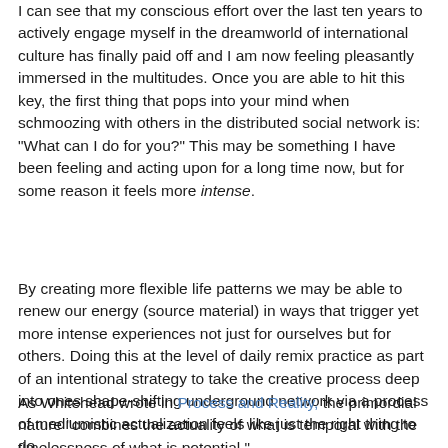I can see that my conscious effort over the last ten years to actively engage myself in the dreamworld of international culture has finally paid off and I am now feeling pleasantly immersed in the multitudes. Once you are able to hit this key, the first thing that pops into your mind when schmoozing with others in the distributed social network is: "What can I do for you?" This may be something I have been feeling and acting upon for a long time now, but for some reason it feels more intense.
By creating more flexible life patterns we may be able to renew our energy (source material) in ways that trigger yet more intense experiences not just for ourselves but for others. Doing this at the level of daily remix practice as part of an intentional strategy to take the creative process deep into ones shape-shifting underground network via a process of mediumistic actualization feels like just the right thing to do.
As Whitehead wrote in Process and Reality, the primordial nature "combines the actuality of what is temporal with the timelessness of what is potential."